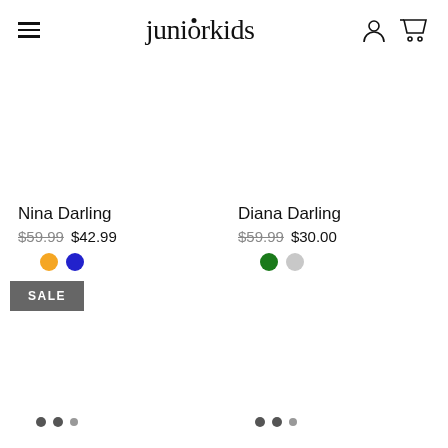juniorkids
Nina Darling
$59.99 $42.99
Diana Darling
$59.99 $30.00
SALE